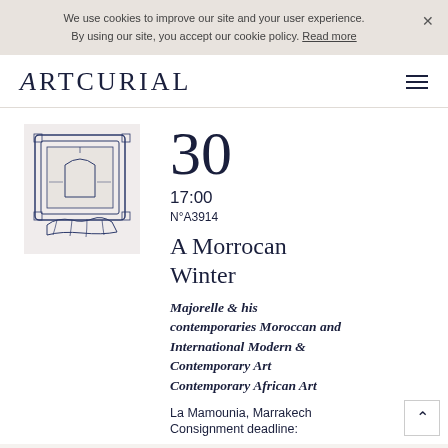We use cookies to improve our site and your user experience. By using our site, you accept our cookie policy. Read more
ARTCURIAL
[Figure (illustration): Line drawing / sketch of a framed painting being examined, shown in a light grey box]
30
17:00
N°A3914
A Morrocan Winter
Majorelle & his contemporaries Moroccan and International Modern & Contemporary Art Contemporary African Art
La Mamounia, Marrakech
Consignment deadline: